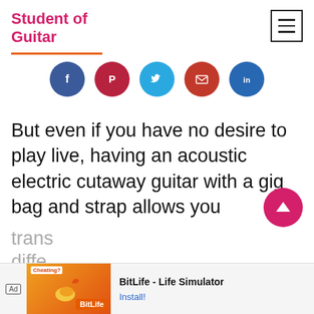Student of Guitar
[Figure (infographic): Social share buttons: Facebook (blue), Pinterest (dark red), Twitter (light blue), Email (red), LinkedIn (blue)]
But even if you have no desire to play live, having an acoustic electric cutaway guitar with a gig bag and strap allows you
trans
diffe
[Figure (screenshot): Advertisement banner: BitLife - Life Simulator app ad with Install button]